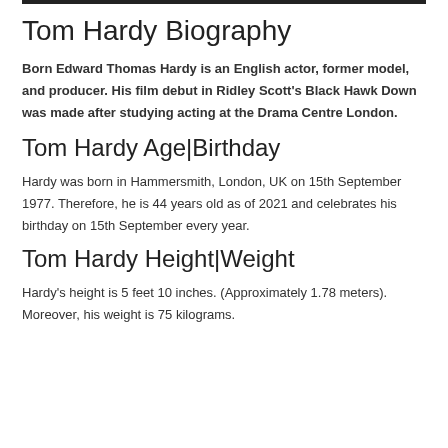Tom Hardy Biography
Born Edward Thomas Hardy is an English actor, former model, and producer. His film debut in Ridley Scott's Black Hawk Down was made after studying acting at the Drama Centre London.
Tom Hardy Age|Birthday
Hardy was born in Hammersmith, London, UK on 15th September 1977. Therefore, he is 44 years old as of 2021 and celebrates his birthday on 15th September every year.
Tom Hardy Height|Weight
Hardy's height is 5 feet 10 inches. (Approximately 1.78 meters). Moreover, his weight is 75 kilograms.